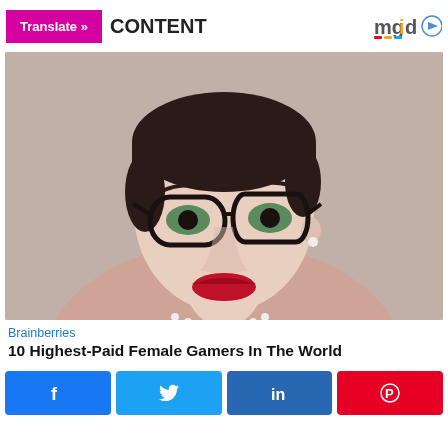Translate » | CONTENT | mgid
[Figure (photo): Close-up portrait of a woman with short dark hair, cat-eye glasses, red lipstick, pearl necklace, and a mauve top, smiling at camera.]
Brainberries
10 Highest-Paid Female Gamers In The World
Share buttons: Facebook, Twitter, LinkedIn, Pinterest